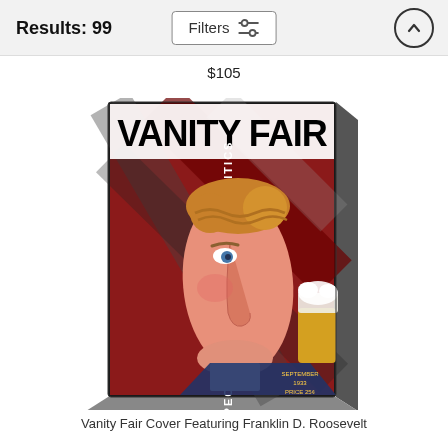Results: 99
$105
[Figure (photo): Product image of a canvas print showing the Vanity Fair magazine cover featuring a caricature of Franklin D. Roosevelt. The cover reads 'VANITY FAIR' at the top and 'PEOPLE HUMOR ART SATIRE POLITICS' vertically on the left side.]
Vanity Fair Cover Featuring Franklin D. Roosevelt